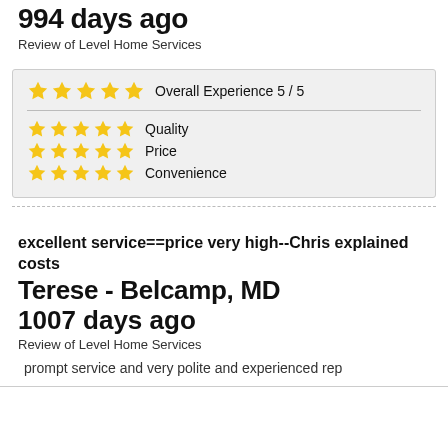994 days ago
Review of Level Home Services
| Overall Experience 5 / 5 |
| Quality |
| Price |
| Convenience |
excellent service==price very high--Chris explained costs
Terese - Belcamp, MD
1007 days ago
Review of Level Home Services
prompt service and very polite and experienced rep